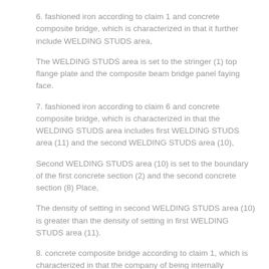6. fashioned iron according to claim 1 and concrete composite bridge, which is characterized in that it further include WELDING STUDS area,
The WELDING STUDS area is set to the stringer (1) top flange plate and the composite beam bridge panel faying face.
7. fashioned iron according to claim 6 and concrete composite bridge, which is characterized in that the WELDING STUDS area includes first WELDING STUDS area (11) and the second WELDING STUDS area (10),
Second WELDING STUDS area (10) is set to the boundary of the first concrete section (2) and the second concrete section (8) Place,
The density of setting in second WELDING STUDS area (10) is greater than the density of setting in first WELDING STUDS area (11).
8. concrete composite bridge according to claim 1, which is characterized in that the company of being internally